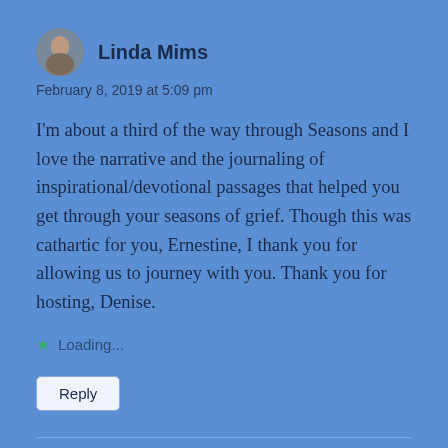Linda Mims
February 8, 2019 at 5:09 pm
I’m about a third of the way through Seasons and I love the narrative and the journaling of inspirational/devotional passages that helped you get through your seasons of grief. Though this was cathartic for you, Ernestine, I thank you for allowing us to journey with you. Thank you for hosting, Denise.
Loading...
Reply